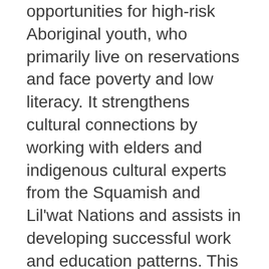opportunities for high-risk Aboriginal youth, who primarily live on reservations and face poverty and low literacy. It strengthens cultural connections by working with elders and indigenous cultural experts from the Squamish and Lil'wat Nations and assists in developing successful work and education patterns. This highly successful model, designed to create opportunities for high risk aboriginal youth, who primarily live on reservations and face multiple barriers (e.g. poverty, low literacy levels), strengthens cultural connections by working with elders and other indigenous cultural experts from a